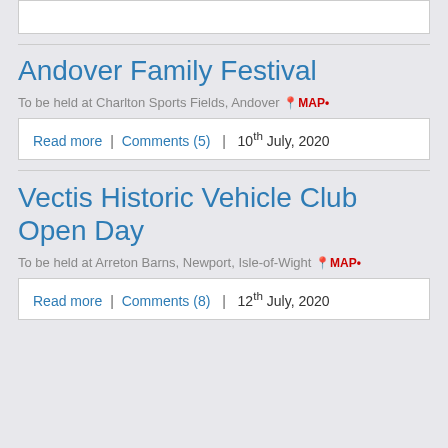(top box content cropped)
Andover Family Festival
To be held at Charlton Sports Fields, Andover •MAP•
Read more | Comments (5) | 10th July, 2020
Vectis Historic Vehicle Club Open Day
To be held at Arreton Barns, Newport, Isle-of-Wight •MAP•
Read more | Comments (8) | 12th July, 2020